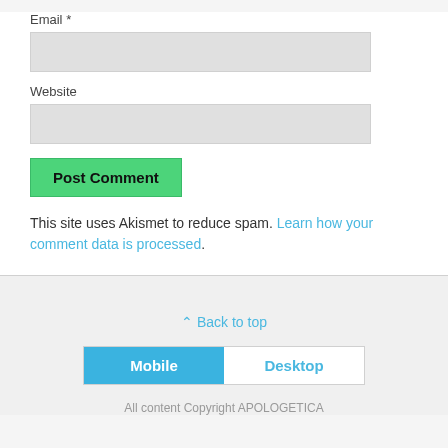Email *
Website
Post Comment
This site uses Akismet to reduce spam. Learn how your comment data is processed.
⌃ Back to top
Mobile  Desktop
All content Copyright APOLOGETICA